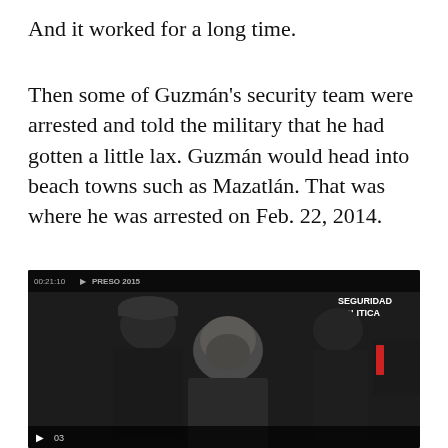And it worked for a long time.
Then some of Guzmán's security team were arrested and told the military that he had gotten a little lax. Guzmán would head into beach towns such as Mazatlán. That was where he was arrested on Feb. 22, 2014.
[Figure (screenshot): Video screenshot showing a bald man in custody surrounded by people in dark clothing and tactical gear, with a SEGURIDAD POLITICA badge visible at top right and video playback controls at the bottom showing timestamp '03'.]